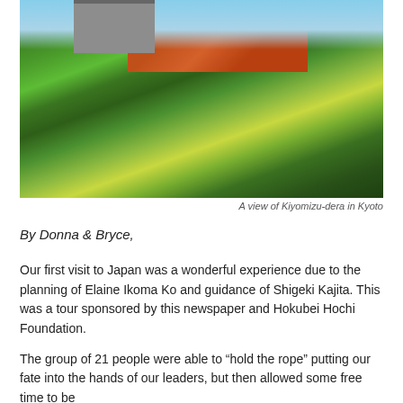[Figure (photo): A view of Kiyomizu-dera temple in Kyoto, seen through lush green and yellow-green foliage with red-orange pagoda roof visible above the trees against a blue sky.]
A view of Kiyomizu-dera in Kyoto
By Donna & Bryce,
Our first visit to Japan was a wonderful experience due to the planning of Elaine Ikoma Ko and guidance of Shigeki Kajita. This was a tour sponsored by this newspaper and Hokubei Hochi Foundation.
The group of 21 people were able to “hold the rope” putting our fate into the hands of our leaders, but then allowed some free time to be